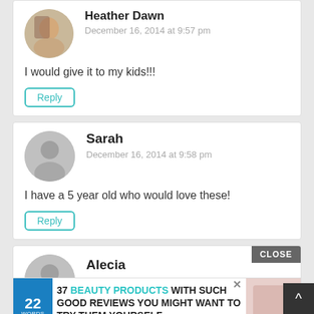Heather Dawn
December 16, 2014 at 9:57 pm
I would give it to my kids!!!
Reply
Sarah
December 16, 2014 at 9:58 pm
I have a 5 year old who would love these!
Reply
Alecia
37 BEAUTY PRODUCTS WITH SUCH GOOD REVIEWS YOU MIGHT WANT TO TRY THEM YOURSELF
My gi
CLOSE